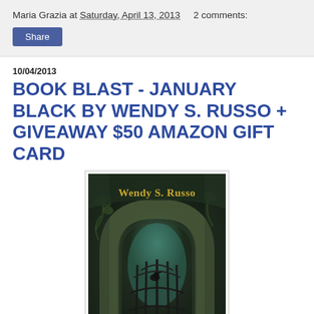Maria Grazia at Saturday, April 13, 2013    2 comments:
Share
10/04/2013
BOOK BLAST - JANUARY BLACK BY WENDY S. RUSSO + GIVEAWAY $50 AMAZON GIFT CARD
[Figure (photo): Book cover of January Black by Wendy S. Russo showing author name in gold text over a dark atmospheric image of a stone arch gateway with ornate iron gate, a bird perched inside, surrounded by lush overgrown vegetation.]